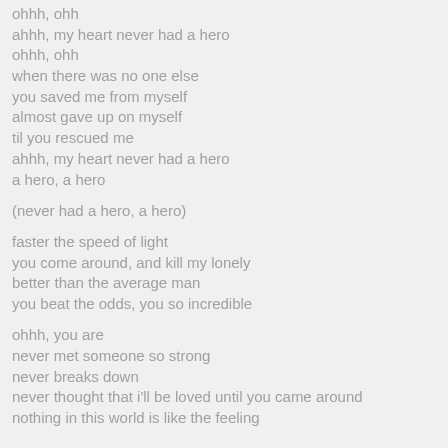ohhh, ohh
ahhh, my heart never had a hero
ohhh, ohh
when there was no one else
you saved me from myself
almost gave up on myself
til you rescued me
ahhh, my heart never had a hero
a hero, a hero

(never had a hero, a hero)

faster the speed of light
you come around, and kill my lonely
better than the average man
you beat the odds, you so incredible

ohhh, you are
never met someone so strong
never breaks down
never thought that i'll be loved until you came around
nothing in this world is like the feeling